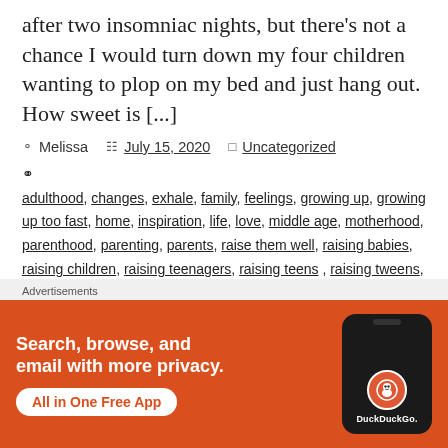after two insomniac nights, but there's not a chance I would turn down my four children wanting to plop on my bed and just hang out. How sweet is [...]
Melissa  July 15, 2020  Uncategorized
adulthood, changes, exhale, family, feelings, growing up, growing up too fast, home, inspiration, life, love, middle age, motherhood, parenthood, parenting, parents, raise them well, raising babies, raising children, raising teenagers, raising teens, raising tweens, relationships, single dad, single mom, single mother, single motherhood, single parenting, thoughts,
[Figure (screenshot): DuckDuckGo advertisement banner: orange background with white text 'Search, browse, and email with more privacy.' and 'All in One Free App' button, with phone image and DuckDuckGo logo]